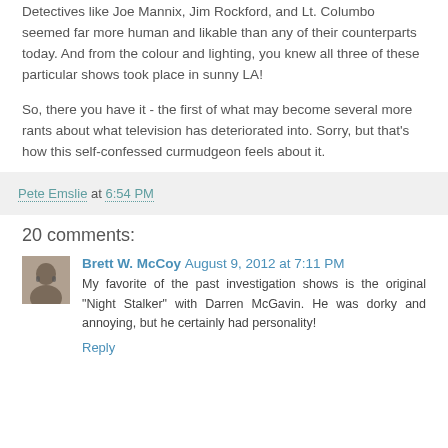Detectives like Joe Mannix, Jim Rockford, and Lt. Columbo seemed far more human and likable than any of their counterparts today. And from the colour and lighting, you knew all three of these particular shows took place in sunny LA!
So, there you have it - the first of what may become several more rants about what television has deteriorated into. Sorry, but that's how this self-confessed curmudgeon feels about it.
Pete Emslie at 6:54 PM
20 comments:
Brett W. McCoy August 9, 2012 at 7:11 PM
My favorite of the past investigation shows is the original "Night Stalker" with Darren McGavin. He was dorky and annoying, but he certainly had personality!
Reply